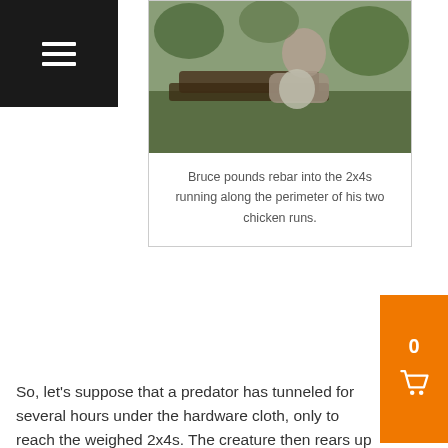[Figure (photo): Person crouching outdoors pounding rebar into 2x4s along the perimeter of chicken runs]
Bruce pounds rebar into the 2x4s running along the perimeter of his two chicken runs.
So, let’s suppose that a predator has tunneled for several hours under the hardware cloth, only to reach the weighed 2x4s. The creature then rears up and comes into contact with the most formidable part of our defenses: two solar-powered electric wires running along the entire perimeter of the two runs and the adjoining garden. One wire is about 10 inches above the ground; the other is 20 inches or so.